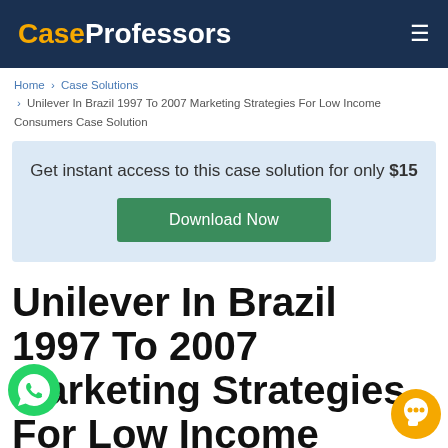CaseProfessors
Home > Case Solutions > Unilever In Brazil 1997 To 2007 Marketing Strategies For Low Income Consumers Case Solution
Get instant access to this case solution for only $15
Download Now
Unilever In Brazil 1997 To 2007 Marketing Strategies For Low Income